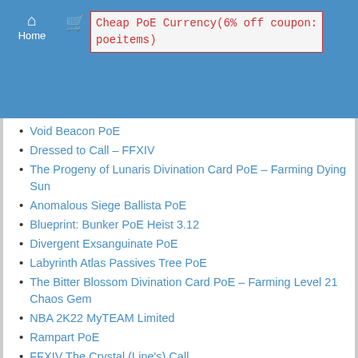Home  Cheap PoE Currency(6% off coupon: poeitems)
Void Beacon PoE
Dressed to Call – FFXIV
The Progeny of Lunaris Divination Card PoE – Farming Dying Sun
Anomalous Siege Ballista PoE
Blueprint: Bunker PoE Heist 3.12
Divergent Exsanguinate PoE
Labyrinth Atlas Passives Tree PoE
The Bitter Blossom Divination Card PoE – Farming Level 21 Chaos Gem
NBA 2K22 MyTEAM Limited
Rampart PoE
FFXIV The Crystal (Line's) Call
Lost Ark Dochul Card
Soups On! – Flyff Universe
Hezmana's Bloodlust Prophecy – Blood of the Betrayed PoE
PoE Profane Ground Debuff